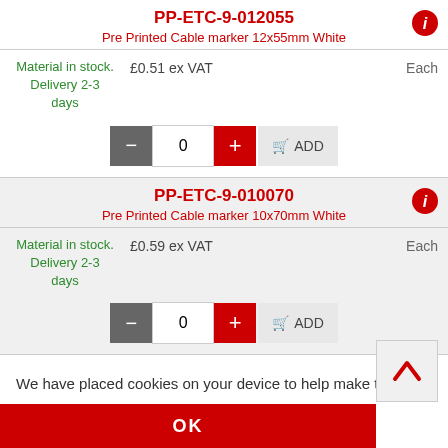PP-ETC-9-012055
Pre Printed Cable marker 12x55mm White
Material in stock. Delivery 2-3 days
£0.51 ex VAT
Each
PP-ETC-9-010070
Pre Printed Cable marker 10x70mm White
Material in stock. Delivery 2-3 days
£0.59 ex VAT
Each
We have placed cookies on your device to help make this website better.